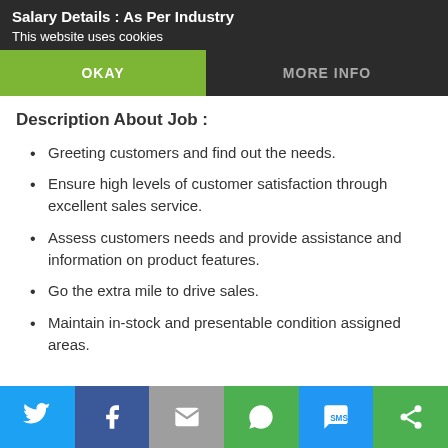Salary Details : As Per Industry
This website uses cookies
Description About Job :
Greeting customers and find out the needs.
Ensure high levels of customer satisfaction through excellent sales service.
Assess customers needs and provide assistance and information on product features.
Go the extra mile to drive sales.
Maintain in-stock and presentable condition assigned areas.